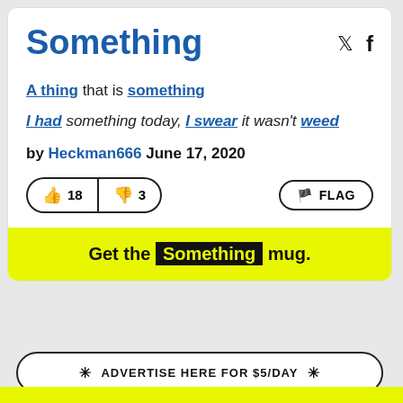Something
A thing that is something
I had something today, I swear it wasn't weed
by Heckman666 June 17, 2020
[Figure (infographic): Thumbs up button with count 18, thumbs down button with count 3, FLAG button]
Get the Something mug.
ADVERTISE HERE FOR $5/DAY